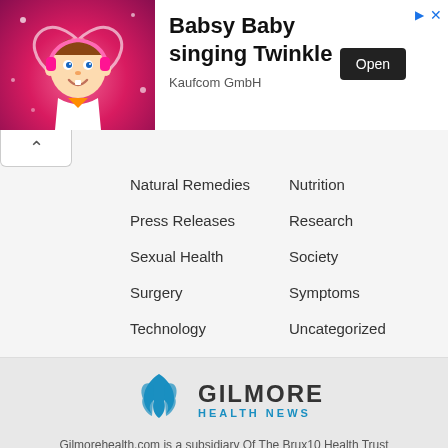[Figure (screenshot): Advertisement banner for Babsy Baby singing Twinkle app by Kaufcom GmbH, showing a cartoon baby with pink background, Open button, and ad icons]
Natural Remedies
Nutrition
Press Releases
Research
Sexual Health
Society
Surgery
Symptoms
Technology
Uncategorized
[Figure (logo): Gilmore Health News logo with blue flame/figure icon and GILMORE HEALTH NEWS text]
Gilmorehealth.com is a subsidiary Of The Brux10 Health Trust
*Gilmore Health Does Not Endorse Opinions Expressed in the News Section!
Contact | Terms of Use | Editorial Team | About Us | Privacy | Careers| HIPAA